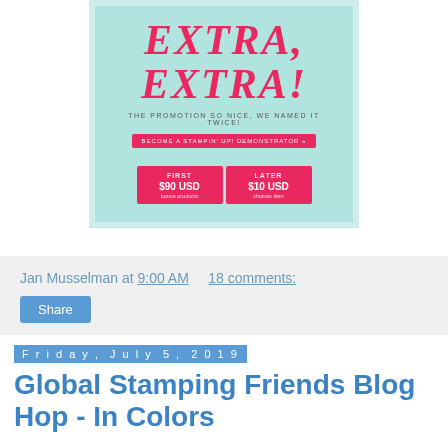[Figure (infographic): Promotional card on mint/teal background with 'EXTRA, EXTRA!' in large pink italic serif font, tagline 'THE PROMOTION SO NICE, WE NAMED IT TWICE!', a pink 'BECOME A STAMPIN' UP! DEMONSTRATOR' button, and two pink boxes showing FIRST $90 USD bonus products and LATER $10 USD choices item.]
Jan Musselman at 9:00 AM     18 comments:
Share
Friday, July 5, 2019
Global Stamping Friends Blog Hop - In Colors